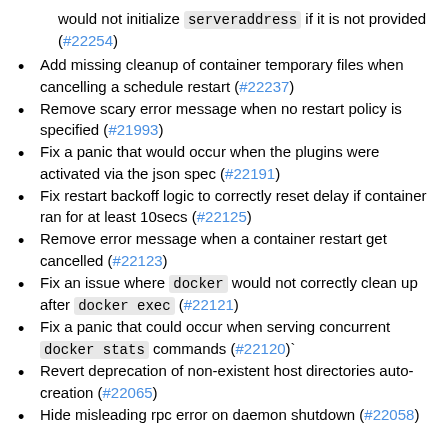would not initialize serveraddress if it is not provided (#22254)
Add missing cleanup of container temporary files when cancelling a schedule restart (#22237)
Remove scary error message when no restart policy is specified (#21993)
Fix a panic that would occur when the plugins were activated via the json spec (#22191)
Fix restart backoff logic to correctly reset delay if container ran for at least 10secs (#22125)
Remove error message when a container restart get cancelled (#22123)
Fix an issue where docker would not correctly clean up after docker exec (#22121)
Fix a panic that could occur when serving concurrent docker stats commands (#22120)`
Revert deprecation of non-existent host directories auto-creation (#22065)
Hide misleading rpc error on daemon shutdown (#22058)